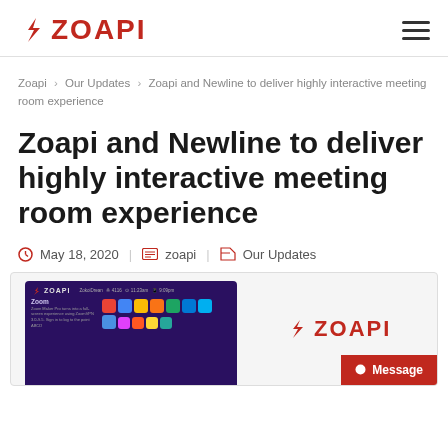ZOAPI
Zoapi › Our Updates › Zoapi and Newline to deliver highly interactive meeting room experience
Zoapi and Newline to deliver highly interactive meeting room experience
May 18, 2020 | zoapi | Our Updates
[Figure (screenshot): Screenshot of Zoapi meeting room software interface on a display, alongside the Zoapi logo and a Message chat button.]